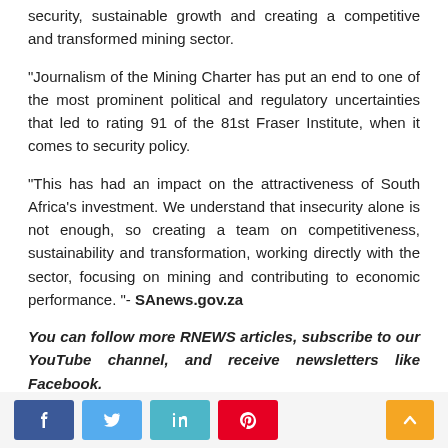security, sustainable growth and creating a competitive and transformed mining sector.
"Journalism of the Mining Charter has put an end to one of the most prominent political and regulatory uncertainties that led to rating 91 of the 81st Fraser Institute, when it comes to security policy.
"This has had an impact on the attractiveness of South Africa's investment. We understand that insecurity alone is not enough, so creating a team on competitiveness, sustainability and transformation, working directly with the sector, focusing on mining and contributing to economic performance. "- SAnews.gov.za
You can follow more RNEWS articles, subscribe to our YouTube channel, and receive newsletters like Facebook.
[ad_2]
Source link
Social share buttons: Facebook, Twitter, LinkedIn, Pinterest, scroll-to-top